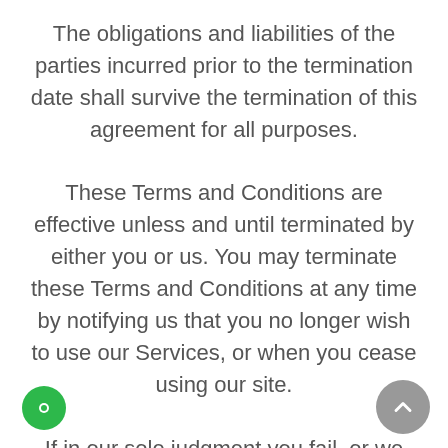The obligations and liabilities of the parties incurred prior to the termination date shall survive the termination of this agreement for all purposes. These Terms and Conditions are effective unless and until terminated by either you or us. You may terminate these Terms and Conditions at any time by notifying us that you no longer wish to use our Services, or when you cease using our site. If in our sole judgment you fail, or we suspect that you have failed, to comply with any term or provision of these Terms and Conditions, we also may terminate this agreement at any time without notice and you will remain